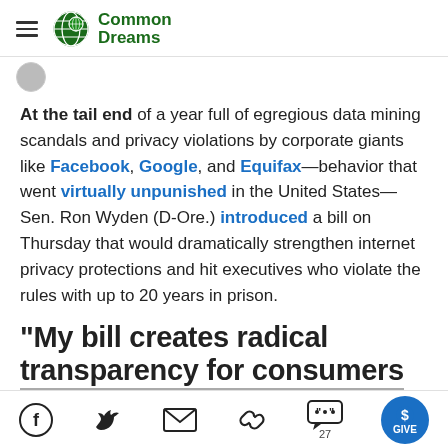Common Dreams
At the tail end of a year full of egregious data mining scandals and privacy violations by corporate giants like Facebook, Google, and Equifax—behavior that went virtually unpunished in the United States—Sen. Ron Wyden (D-Ore.) introduced a bill on Thursday that would dramatically strengthen internet privacy protections and hit executives who violate the rules with up to 20 years in prison.
"My bill creates radical transparency for consumers
Social share icons: Facebook, Twitter, Email, Link, Comments (27), Give